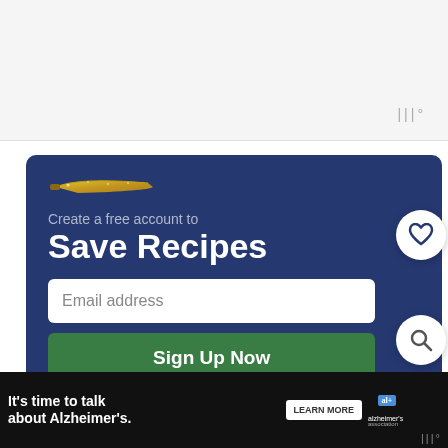[Figure (screenshot): Top white/light gray bar area of a webpage with a small wordmark icon top-right]
[Figure (screenshot): Dark navy blue promotional box with gold knife icon, subtitle 'Create a free account to', main heading 'Save Recipes', email input field, Sign Up Now green button, heart icon button, search icon button]
Create a free account to
Save Recipes
Email address
Sign Up Now
[Figure (screenshot): Dark advertisement banner: 'It's time to talk about Alzheimer's.' with LEARN MORE button, al+ badge, Alzheimer's Association logo, X close button, wordmark bottom right]